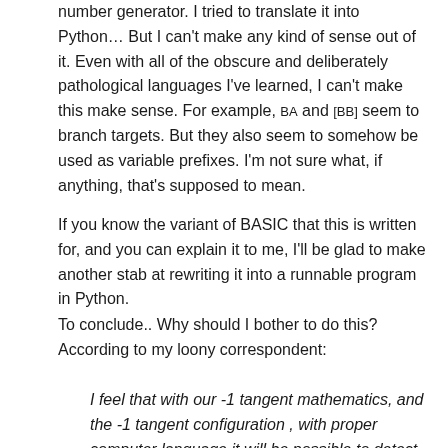number generator. I tried to translate it into Python… But I can't make any kind of sense out of it. Even with all of the obscure and deliberately pathological languages I've learned, I can't make this make sense. For example, BA and [BB] seem to branch targets. But they also seem to somehow be used as variable prefixes. I'm not sure what, if anything, that's supposed to mean.
If you know the variant of BASIC that this is written for, and you can explain it to me, I'll be glad to make another stab at rewriting it into a runnable program in Python.
To conclude.. Why should I bother to do this? According to my loony correspondent:
I feel that with our -1 tangent mathematics, and the -1 tangent configuration , with proper computer language it will be possible to detect even the tiniest leak of